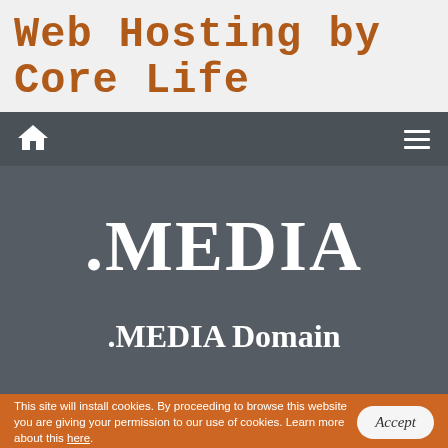Web Hosting by Core Life
Home | Menu
.MEDIA
.MEDIA Domain
This site will install cookies. By proceeding to browse this website you are giving your permission to our use of cookies. Learn more about this here.